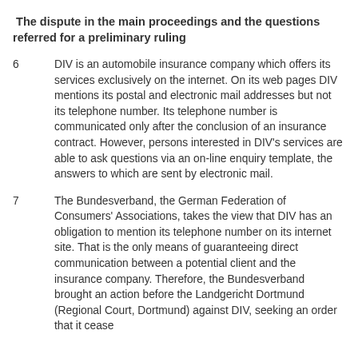The dispute in the main proceedings and the questions referred for a preliminary ruling
6        DIV is an automobile insurance company which offers its services exclusively on the internet. On its web pages DIV mentions its postal and electronic mail addresses but not its telephone number. Its telephone number is communicated only after the conclusion of an insurance contract. However, persons interested in DIV's services are able to ask questions via an on-line enquiry template, the answers to which are sent by electronic mail.
7        The Bundesverband, the German Federation of Consumers' Associations, takes the view that DIV has an obligation to mention its telephone number on its internet site. That is the only means of guaranteeing direct communication between a potential client and the insurance company. Therefore, the Bundesverband brought an action before the Landgericht Dortmund (Regional Court, Dortmund) against DIV, seeking an order that it cease